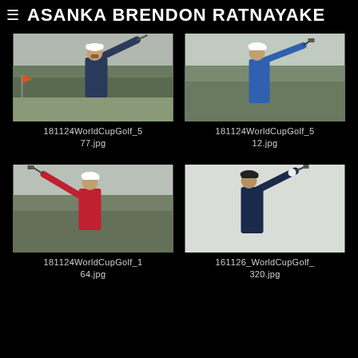≡ ASANKA BRENDON RATNAYAKE
[Figure (photo): Golfer mid-swing on a golf course, overcast conditions, orange flag visible in background]
181124WorldCupGolf_577.jpg
[Figure (photo): Golfer holding club on a golf course, wearing a blue shirt and white cap]
181124WorldCupGolf_512.jpg
[Figure (photo): Golfer in red shirt and white cap mid-swing on a golf course]
181124WorldCupGolf_164.jpg
[Figure (photo): Golfer in navy shirt holding club, looking upward after shot]
161126_WorldCupGolf_320.jpg